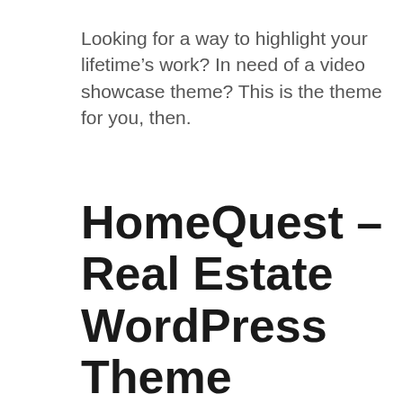Looking for a way to highlight your lifetime's work? In need of a video showcase theme? This is the theme for you, then.
HomeQuest – Real Estate WordPress Theme